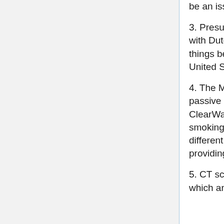be an issue?
3. Presumably the Dutch study of obesity dealt with Dutch data concerning costs. Why might things be different when dealing with the United States?
4. The Minnesota study dealt with the effect of passive smoking and was funded by ClearWay, an advocacy group for banning smoking. How is ClearWay providing funds different from/similar to the Liggett group providing funds?
5. CT scans of the lung, just like mammograms which are commonly used to